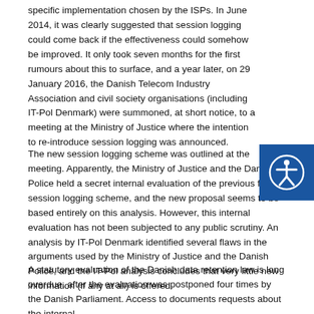specific implementation chosen by the ISPs. In June 2014, it was clearly suggested that session logging could come back if the effectiveness could somehow be improved. It only took seven months for the first rumours about this to surface, and a year later, on 29 January 2016, the Danish Telecom Industry Association and civil society organisations (including IT-Pol Denmark) were summoned, at short notice, to a meeting at the Ministry of Justice where the intention to re-introduce session logging was announced.
The new session logging scheme was outlined at the meeting. Apparently, the Ministry of Justice and the Danish Police held a secret internal evaluation of the previous failed session logging scheme, and the new proposal seems to be based entirely on this analysis. However, this internal evaluation has not been subjected to any public scrutiny. An analysis by IT-Pol Denmark identified several flaws in the arguments used by the Ministry of Justice and the Danish Police, and the IT-Pol analysis concludes that very little new information (if any at all) is offered.
A statutory evaluation of the Danish data retention law is long overdue, after the evaluation was postponed four times by the Danish Parliament. Access to documents requests about the internal